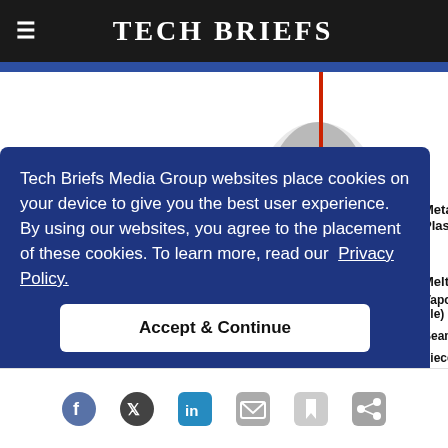Tech Briefs
[Figure (engineering-diagram): Laser welding diagram showing metal vapor/plasma cloud above melt pool, with vapor capillary (keyhole), seam, and workpiece labeled. A red vertical laser beam is shown, with a gray plume of metal vapor/plasma, and an arrow pointing left indicating beam travel direction. Labels visible: Metal Vapor/Plasma, Melt Pool, Vapor Capillary (hole), Seam, workpiece, (Graphic:]
Tech Briefs Media Group websites place cookies on your device to give you the best user experience. By using our websites, you agree to the placement of these cookies. To learn more, read our  Privacy Policy.
Accept & Continue